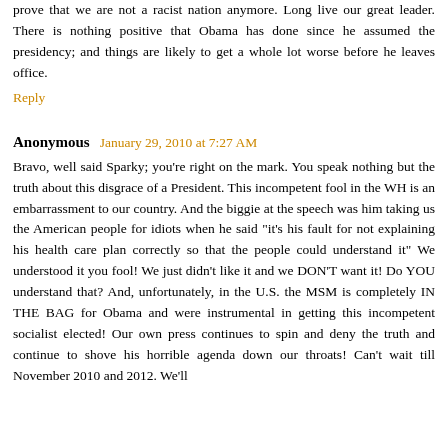prove that we are not a racist nation anymore. Long live our great leader. There is nothing positive that Obama has done since he assumed the presidency; and things are likely to get a whole lot worse before he leaves office.
Reply
Anonymous  January 29, 2010 at 7:27 AM
Bravo, well said Sparky; you're right on the mark. You speak nothing but the truth about this disgrace of a President. This incompetent fool in the WH is an embarrassment to our country. And the biggie at the speech was him taking us the American people for idiots when he said "it's his fault for not explaining his health care plan correctly so that the people could understand it" We understood it you fool! We just didn't like it and we DON'T want it! Do YOU understand that? And, unfortunately, in the U.S. the MSM is completely IN THE BAG for Obama and were instrumental in getting this incompetent socialist elected! Our own press continues to spin and deny the truth and continue to shove his horrible agenda down our throats! Can't wait till November 2010 and 2012. We'll